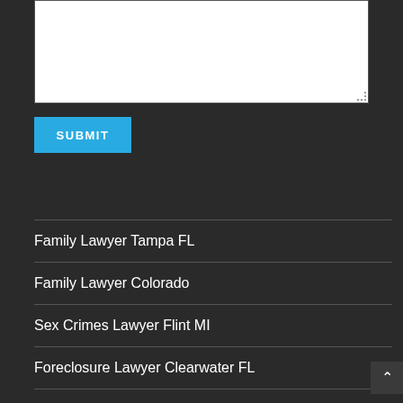[Figure (screenshot): White textarea input box with resize handle in bottom-right corner]
SUBMIT
Family Lawyer Tampa FL
Family Lawyer Colorado
Sex Crimes Lawyer Flint MI
Foreclosure Lawyer Clearwater FL
Hit And Run Accident Lawyer Frederick MD